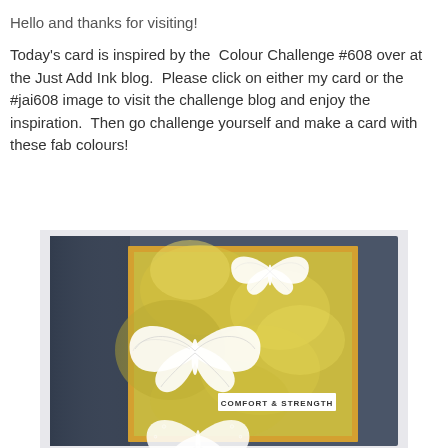Hello and thanks for visiting!
Today's card is inspired by the Colour Challenge #608 over at the Just Add Ink blog.  Please click on either my card or the #jai608 image to visit the challenge blog and enjoy the inspiration.  Then go challenge yourself and make a card with these fab colours!
[Figure (photo): A handmade greeting card with a yellow-green textured background, white embossed butterflies, and a banner reading COMFORT & STRENGTH, mounted on a dark navy/grey card base.]